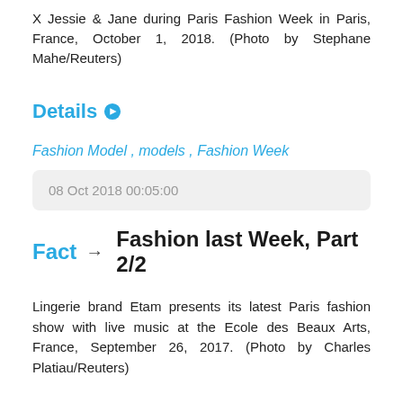X Jessie & Jane during Paris Fashion Week in Paris, France, October 1, 2018. (Photo by Stephane Mahe/Reuters)
Details
Fashion Model , models , Fashion Week
08 Oct 2018 00:05:00
Fact → Fashion last Week, Part 2/2
Lingerie brand Etam presents its latest Paris fashion show with live music at the Ecole des Beaux Arts, France, September 26, 2017. (Photo by Charles Platiau/Reuters)